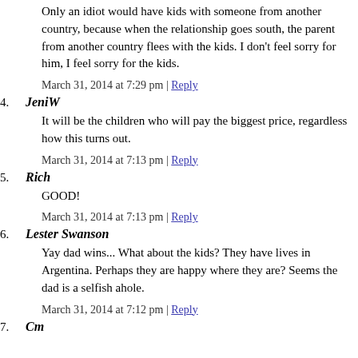Only an idiot would have kids with someone from another country, because when the relationship goes south, the parent from another country flees with the kids. I don't feel sorry for him, I feel sorry for the kids.
March 31, 2014 at 7:29 pm | Reply
4. JeniW
It will be the children who will pay the biggest price, regardless how this turns out.
March 31, 2014 at 7:13 pm | Reply
5. Rich
GOOD!
March 31, 2014 at 7:13 pm | Reply
6. Lester Swanson
Yay dad wins... What about the kids? They have lives in Argentina. Perhaps they are happy where they are? Seems the dad is a selfish ahole.
March 31, 2014 at 7:12 pm | Reply
7. Cm